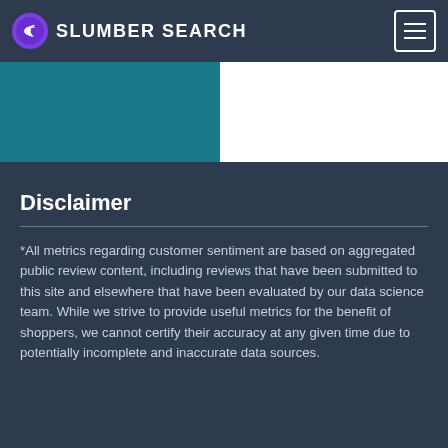SLUMBER SEARCH
[Figure (illustration): Slumber Search logo: purple circle with moon/sleep icon]
[Figure (illustration): Hamburger menu button icon (three horizontal lines in a square border)]
[Figure (illustration): Banner area with teal left half and white right half]
Disclaimer
*All metrics regarding customer sentiment are based on aggregated public review content, including reviews that have been submitted to this site and elsewhere that have been evaluated by our data science team. While we strive to provide useful metrics for the benefit of shoppers, we cannot certify their accuracy at any given time due to potentially incomplete and inaccurate data sources.